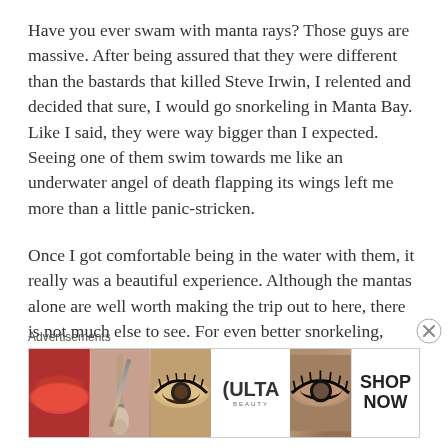Have you ever swam with manta rays? Those guys are massive. After being assured that they were different than the bastards that killed Steve Irwin, I relented and decided that sure, I would go snorkeling in Manta Bay. Like I said, they were way bigger than I expected. Seeing one of them swim towards me like an underwater angel of death flapping its wings left me more than a little panic-stricken.
Once I got comfortable being in the water with them, it really was a beautiful experience. Although the mantas alone are well worth making the trip out to here, there is not much else to see. For even better snorkeling, head to the colorful...
Advertisements
[Figure (illustration): Advertisement banner for ULTA beauty products showing makeup-related imagery: lips with red lipstick, a makeup brush, a close-up eye with makeup, the ULTA Beauty logo on white background, another close-up eye with dramatic eye makeup, and a white SHOP NOW panel.]